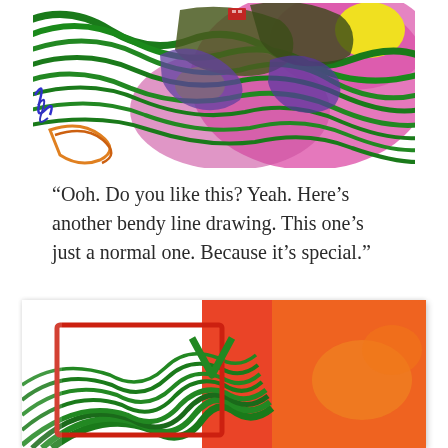[Figure (illustration): Colorful abstract child's drawing with swirling bendy lines in green, purple, pink, yellow, and blue on white background.]
“Ooh. Do you like this? Yeah. Here’s another bendy line drawing. This one’s just a normal one. Because it’s special.”
[Figure (illustration): Colorful abstract child's drawing with swirling bendy lines in red, orange, green on white background, partially visible.]